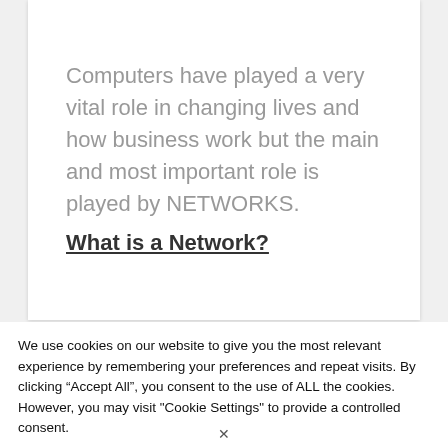Computers have played a very vital role in changing lives and how business work but the main and most important role is played by NETWORKS.
What is a Network?
We use cookies on our website to give you the most relevant experience by remembering your preferences and repeat visits. By clicking “Accept All”, you consent to the use of ALL the cookies. However, you may visit "Cookie Settings" to provide a controlled consent.